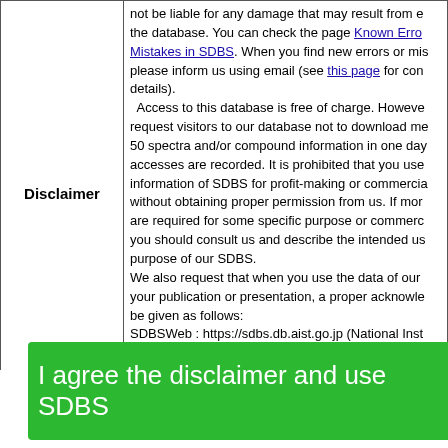|  |  |
| --- | --- |
| Disclaimer | not be liable for any damage that may result from errors in the database. You can check the page Known Errors or Mistakes in SDBS. When you find new errors or mistakes, please inform us using email (see this page for contact details).
 Access to this database is free of charge. However, we request visitors to our database not to download more than 50 spectra and/or compound information in one day. All accesses are recorded. It is prohibited that you use the information of SDBS for profit-making or commercial use without obtaining proper permission from us. If more spectra are required for some specific purpose or commercial use, you should consult us and describe the intended use and purpose of our SDBS.
We also request that when you use the data of our SDBS in your publication or presentation, a proper acknowledgement be given as follows:
SDBSWeb : https://sdbs.db.aist.go.jp (National Institute of Advanced Industrial Science and Technology, date of access) |
I agree the disclaimer and use SDBS